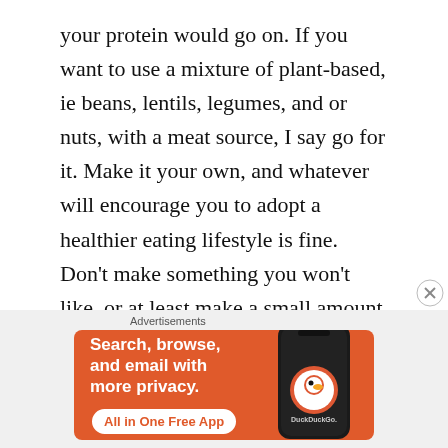your protein would go on. If you want to use a mixture of plant-based, ie beans, lentils, legumes, and or nuts, with a meat source, I say go for it. Make it your own, and whatever will encourage you to adopt a healthier eating lifestyle is fine. Don't make something you won't like, or at least make a small amount of it when trying something new. I don't really see where there is dairy involved in these bowls either. So, no cheese. Last, but not least, the dressing. If you really just can't make your own, use whatever kind you like from the store. Just be Mindful of portion sizes. Do not mix the Buddha Bowl, presentation is everything. You want to savor the
[Figure (other): DuckDuckGo advertisement banner with orange background. Text reads 'Search, browse, and email with more privacy. All in One Free App' with a phone image showing the DuckDuckGo logo.]